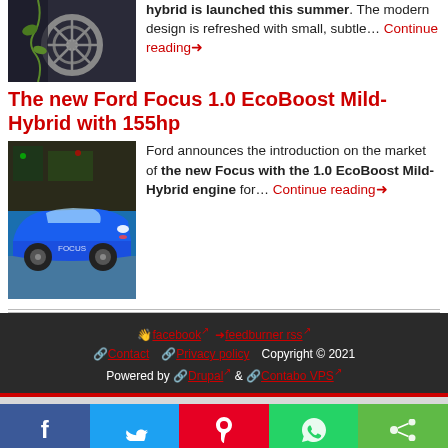[Figure (photo): Car wheel/detail close-up photo, dark background]
hybrid is launched this summer. The modern design is refreshed with small, subtle… Continue reading→
The new Ford Focus 1.0 EcoBoost Mild-Hybrid with 155hp
[Figure (photo): Blue Ford Focus car photo]
Ford announces the introduction on the market of the new Focus with the 1.0 EcoBoost Mild-Hybrid engine for… Continue reading→
🖐facebook↗ →feedburner rss↗ 🔗Contact 🔗Privacy policy Copyright © 2021 Powered by 🔗Drupal↗ & 🔗Contabo VPS↗
[Figure (infographic): Social share bar: Facebook, Twitter, Pinterest, WhatsApp, Share buttons]